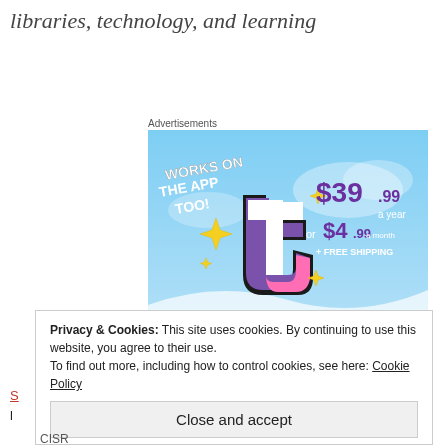libraries, technology, and learning
Advertisements
[Figure (illustration): Tumblr advertisement showing a stylized 't' logo with purple/pink/white colors, yellow sparkle stars, on a light blue sky background. Text reads: WORKS ON THE APP TOO! $39.99 a year or $4.99 a month + FREE SHIPPING]
Privacy & Cookies: This site uses cookies. By continuing to use this website, you agree to their use.
To find out more, including how to control cookies, see here: Cookie Policy
Close and accept